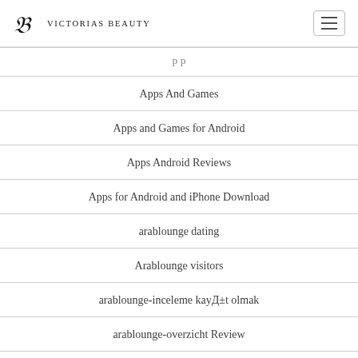Victorias Beauty
Apps And Games
Apps and Games for Android
Apps Android Reviews
Apps for Android and iPhone Download
arablounge dating
Arablounge visitors
arablounge-inceleme kayД±t olmak
arablounge-overzicht Review
Ardent visitors